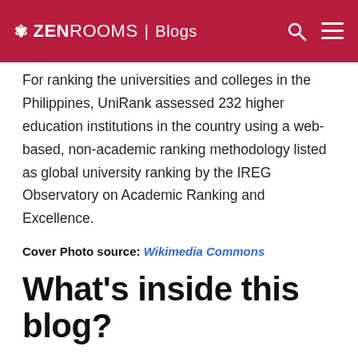ZEN ROOMS | Blogs
For ranking the universities and colleges in the Philippines, UniRank assessed 232 higher education institutions in the country using a web-based, non-academic ranking methodology listed as global university ranking by the IREG Observatory on Academic Ranking and Excellence.
Cover Photo source: Wikimedia Commons
What's inside this blog?
Top Universities in Philippines